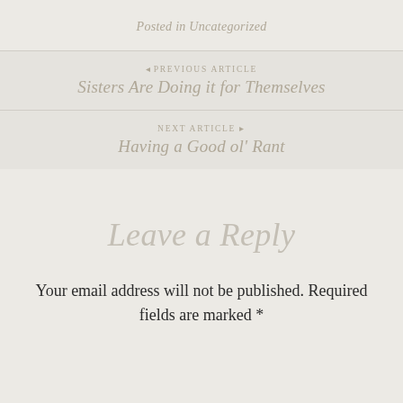Posted in Uncategorized
◂ PREVIOUS ARTICLE
Sisters Are Doing it for Themselves
NEXT ARTICLE ▸
Having a Good ol' Rant
Leave a Reply
Your email address will not be published. Required fields are marked *